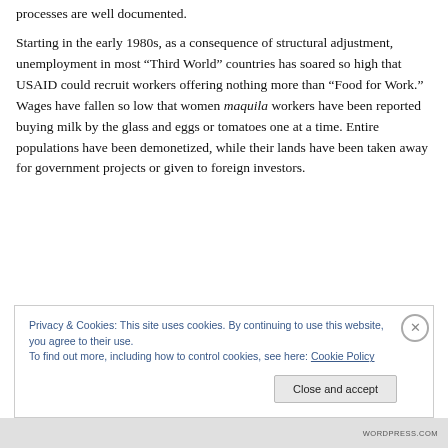processes are well documented. Starting in the early 1980s, as a consequence of structural adjustment, unemployment in most “Third World” countries has soared so high that USAID could recruit workers offering nothing more than “Food for Work.” Wages have fallen so low that women maquila workers have been reported buying milk by the glass and eggs or tomatoes one at a time. Entire populations have been demonetized, while their lands have been taken away for government projects or given to foreign investors.
Privacy & Cookies: This site uses cookies. By continuing to use this website, you agree to their use. To find out more, including how to control cookies, see here: Cookie Policy